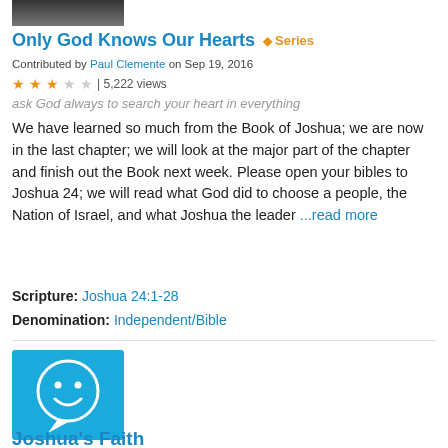[Figure (photo): Partial photo of a person, cropped at top]
Only God Knows Our Hearts  ◆ Series
Contributed by Paul Clemente on Sep 19, 2016
★★★☆☆ | 5,222 views
ask God always to search your heart in everything
We have learned so much from the Book of Joshua; we are now in the last chapter; we will look at the major part of the chapter and finish out the Book next week. Please open your bibles to Joshua 24; we will read what God did to choose a people, the Nation of Israel, and what Joshua the leader ...read more
Scripture: Joshua 24:1-28
Denomination: Independent/Bible
[Figure (illustration): Blue speech bubble with smiley face icon]
Joshua's Faith